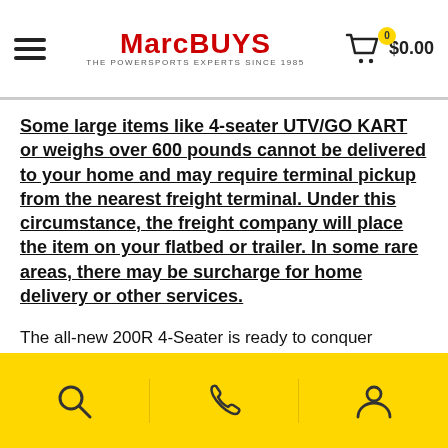MarcBuys - The Powersports Experts Since 1985 | Cart: $0.00
Some large items like 4-seater UTV/GO KART or weighs over 600 pounds cannot be delivered to your home and may require terminal pickup from the nearest freight terminal. Under this circumstance, the freight company will place the item on your flatbed or trailer. In some rare areas, there may be surcharge for home delivery or other services.
The all-new 200R 4-Seater is ready to conquer whatever comes its way with our most powerful 170cc, air-cooled power plant. This new engine delivers strong low-end acceleration and pulls hard through the rpm range to deliver excellent power delivery for getting the job done or when hitting the trails Features Reliable 170cc Air-Cooled, 4-Stroke High Quality Honda Clone GX6 Engin...
Search | Phone | Account